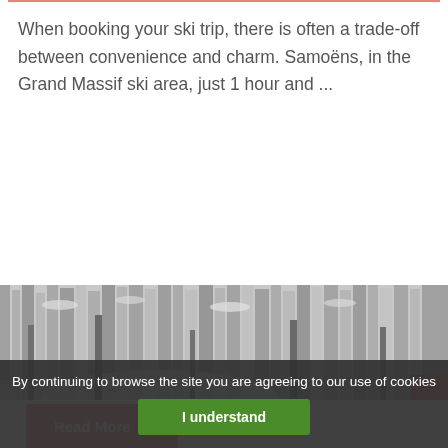When booking your ski trip, there is often a trade-off between convenience and charm. Samoëns, in the Grand Massif ski area, just 1 hour and ...
Read More →
[Figure (photo): Snowy winter forest scene with snow-covered pine trees and a ski slope visible, in black and white / grayscale tones.]
By continuing to browse the site you are agreeing to our use of cookies
I understand